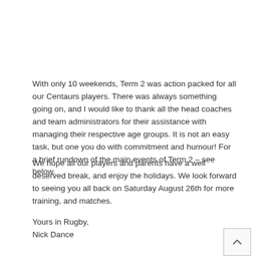With only 10 weekends, Term 2 was action packed for all our Centaurs players. There was always something going on, and I would like to thank all the head coaches and team administrators for their assistance with managing their respective age groups. It is not an easy task, but one you do with commitment and humour! For a brief rundown of the main events of Term 2 – see below.
We hope all our players and parents have a well deserved break, and enjoy the holidays. We look forward to seeing you all back on Saturday August 26th for more training, and matches.
Yours in Rugby,
Nick Dance